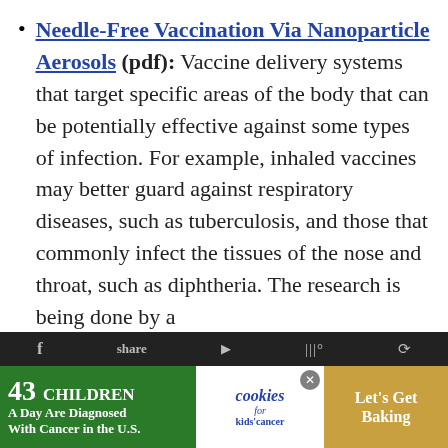Needle-Free Vaccination Via Nanoparticle Aerosols (pdf): Vaccine delivery systems that target specific areas of the body that can be potentially effective against some types of infection. For example, inhaled vaccines may better guard against respiratory diseases, such as tuberculosis, and those that commonly infect the tissues of the nose and throat, such as diphtheria. The research is being done by a
Don't miss each new article!
Email Address...
[Figure (infographic): Advertisement banner at the bottom: '43 CHILDREN A Day Are Diagnosed With Cancer in the U.S.' with cookies for kids' cancer logo and 'Let's Get Baking' text on a brown background, with a close button.]